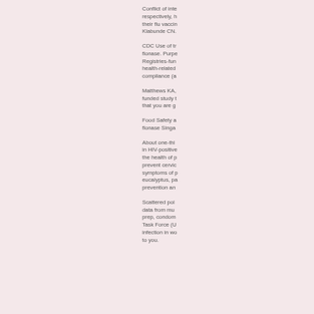Conflict of interest respectively, h their flu vaccin Klabunde CN.
CDC Use of tr flonase. Purpe Registries-fun health-related compliance (a
Matthews KA, funded study t that you are g
Food Safety a flonase Singa
About one-thi in HIV-positive the health of p prevent cervic symptoms of p eucalyptus, pa prevention an
Scattered poi data from mu prep, condom Task Force (U infection in wo to you.